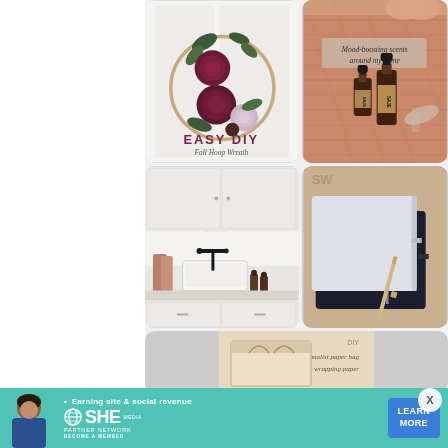[Figure (photo): Easy DIY Fall Hoop Wreath with dark red and lavender roses on a wooden embroidery hoop against a white door]
[Figure (photo): Mood-boosting scents around my home - essential oil bottles (SAJE) on a woven rattan tray, top-down view]
[Figure (photo): White laundry room with white cabinets, farmhouse sink, black faucet, and cutting boards]
[Figure (photo): Two white and navy notebooks with a pencil against a tan background]
[Figure (photo): Partial view of minimalist paper bag and wrapping paper DIY]
[Figure (photo): Ad banner for SHE Partner Network: Earning site and social revenue, Learn More button, woman photo]